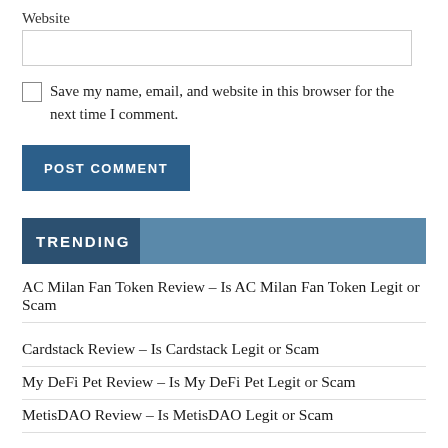Website
Save my name, email, and website in this browser for the next time I comment.
POST COMMENT
TRENDING
AC Milan Fan Token Review – Is AC Milan Fan Token Legit or Scam
Cardstack Review – Is Cardstack Legit or Scam
My DeFi Pet Review – Is My DeFi Pet Legit or Scam
MetisDAO Review – Is MetisDAO Legit or Scam
InsurAce Review – Is InsurAce Legit or Scam